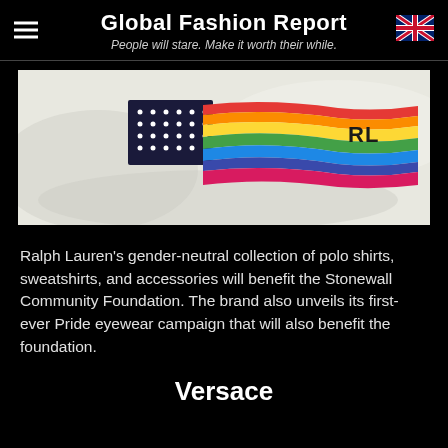Global Fashion Report
People will stare. Make it worth their while.
[Figure (photo): Close-up photo of a white knit fabric embroidered with a rainbow Pride flag combined with the US flag stars, with 'RL' monogram on the right.]
Ralph Lauren's gender-neutral collection of polo shirts, sweatshirts, and accessories will benefit the Stonewall Community Foundation. The brand also unveils its first-ever Pride eyewear campaign that will also benefit the foundation.
Versace